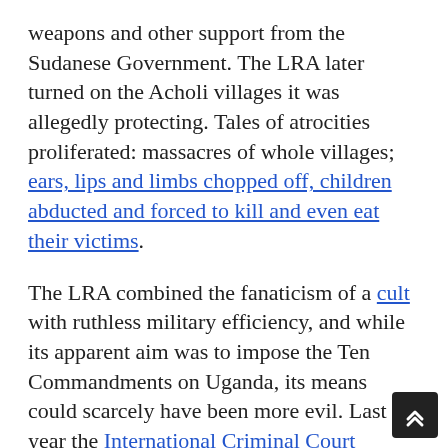weapons and other support from the Sudanese Government. The LRA later turned on the Acholi villages it was allegedly protecting. Tales of atrocities proliferated: massacres of whole villages; ears, lips and limbs chopped off, children abducted and forced to kill and even eat their victims.
The LRA combined the fanaticism of a cult with ruthless military efficiency, and while its apparent aim was to impose the Ten Commandments on Uganda, its means could scarcely have been more evil. Last year the International Criminal Court indicted Kony and four other LRA leaders for war crimes. I made it my mission to track